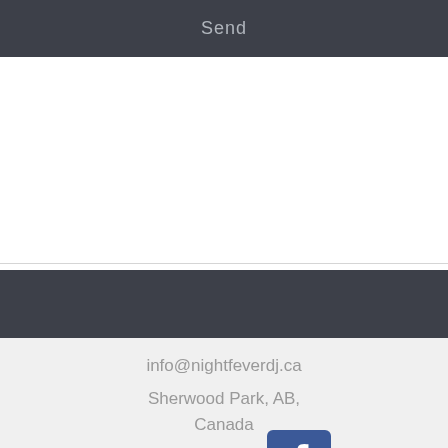[Figure (screenshot): Dark grey Send button bar at the top of the page]
Send
[Figure (screenshot): Dark grey navigation bar strip]
info@nightfeverdj.ca
Sherwood Park, AB, Canada
[Figure (logo): Facebook logo icon - blue rounded square with white f]
©2016 BY NIGHT FEVER